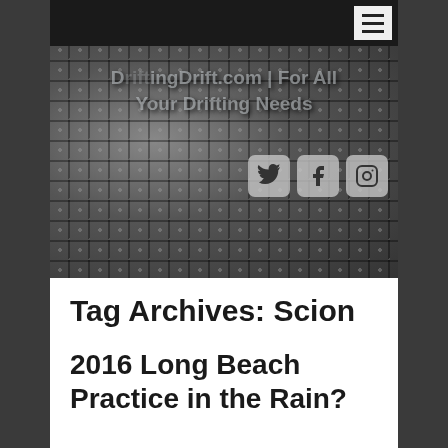[Figure (screenshot): Website header with metal/steel texture background. Shows site title text 'DriftingDrift.com | For All Your Drifting Needs' in semi-transparent text, with Twitter, Facebook, and Instagram social media icons in rounded square buttons. Top navigation bar is black with a hamburger menu button in top-right corner.]
Tag Archives: Scion
2016 Long Beach Practice in the Rain?